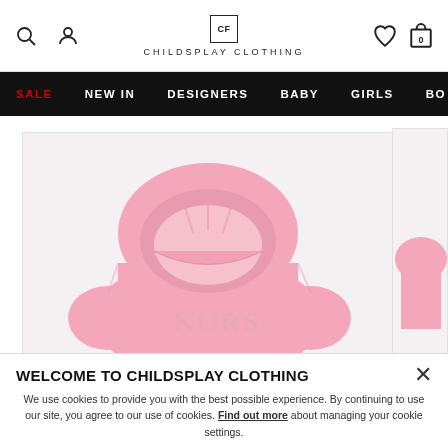CF CHILDSPLAY CLOTHING
[Figure (screenshot): Navigation bar with SALE (red), NEW IN, DESIGNERS, BABY, GIRLS, BO... menu items on black background]
[Figure (photo): Pink children's hoodie with embroidered KORS logo, displayed flat on light grey background]
WELCOME TO CHILDSPLAY CLOTHING
We use cookies to provide you with the best possible experience. By continuing to use our site, you agree to our use of cookies. Find out more about managing your cookie settings.